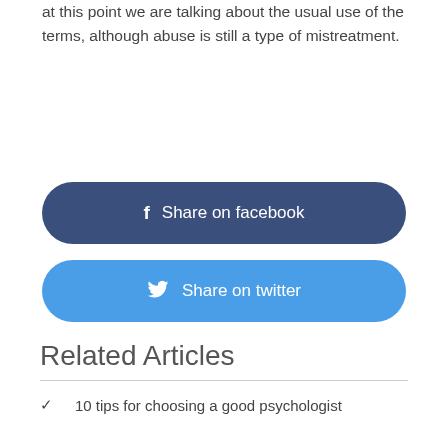at this point we are talking about the usual use of the terms, although abuse is still a type of mistreatment.
Share on facebook
Share on twitter
Related Articles
10 tips for choosing a good psychologist